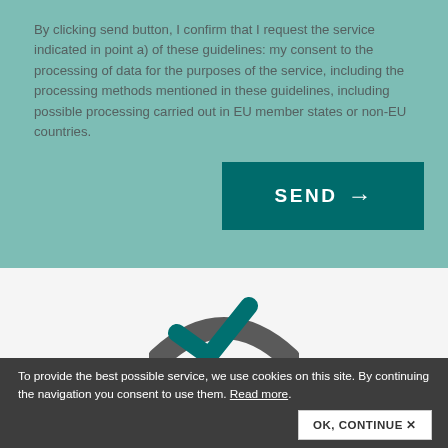By clicking send button, I confirm that I request the service indicated in point a) of these guidelines: my consent to the processing of data for the purposes of the service, including the processing methods mentioned in these guidelines, including possible processing carried out in EU member states or non-EU countries.
[Figure (other): SEND button with arrow pointing right, teal/dark green background]
[Figure (logo): Logo with teal checkmark and gray road/arc shape, partially visible]
To provide the best possible service, we use cookies on this site. By continuing the navigation you consent to use them. Read more.
[Figure (other): OK, CONTINUE button with X mark, white background on dark cookie bar]